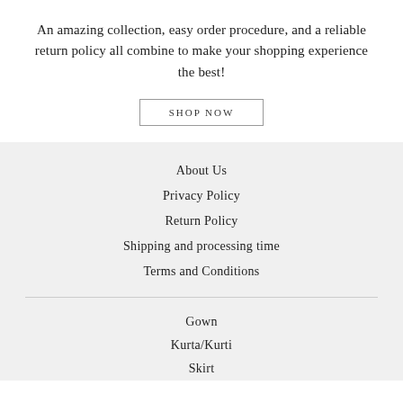An amazing collection, easy order procedure, and a reliable return policy all combine to make your shopping experience the best!
SHOP NOW
About Us
Privacy Policy
Return Policy
Shipping and processing time
Terms and Conditions
Gown
Kurta/Kurti
Skirt